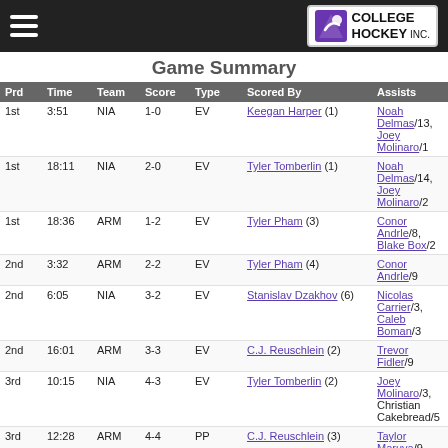College Hockey Inc.
Game Summary
| Prd | Time | Team | Score | Type | Scored By | Assists |
| --- | --- | --- | --- | --- | --- | --- |
| 1st | 3:51 | NIA | 1-0 | EV | Keegan Harper (1) | Noah Delmas/13, Joey Molinaro/1 |
| 1st | 18:11 | NIA | 2-0 | EV | Tyler Tomberlin (1) | Noah Delmas/14, Joey Molinaro/2 |
| 1st | 18:36 | ARM | 1-2 | EV | Tyler Pham (3) | Conor Andrle/8, Blake Box/2 |
| 2nd | 3:32 | ARM | 2-2 | EV | Tyler Pham (4) | Conor Andrle/9 |
| 2nd | 6:05 | NIA | 3-2 | EV | Stanislav Dzakhov (6) | Nicolas Carrier/3, Caleb Boman/3 |
| 2nd | 16:01 | ARM | 3-3 | EV | C.J. Reuschlein (2) | Trevor Fidler/9 |
| 3rd | 10:15 | NIA | 4-3 | EV | Tyler Tomberlin (2) | Joey Molinaro/3, Christian Cakebread/5 |
| 3rd | 12:28 | ARM | 4-4 | PP | C.J. Reuschlein (3) | Taylor Maruya/9, Nick DeCenzo/6 |
| OT | 4:19.9 | ARM | 5-4 | EV GW | Conor Andrle (11) | Zach Evancho/8 |
| Scoring | 1st | 2nd | 3rd | OT | Final |
| --- | --- | --- | --- | --- | --- |
| Niagara | 2 | 1 | 1 | 0 | 4 |
| Army West Point | 1 | 2 | 1 | 1 | 5 |
| Shots on Goal | 1st | 2nd | 3rd | OT | SOG |
| --- | --- | --- | --- | --- | --- |
| Niagara | 12 | 9 | 9 | 1 | 31 |
| Army West Point | 8 | 8 | 8 | 5 | 29 |